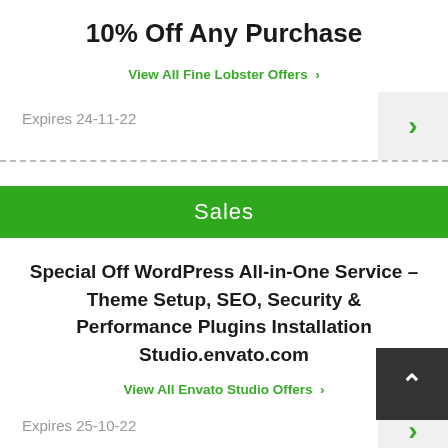10% Off Any Purchase
View All Fine Lobster Offers >
Expires 24-11-22
Sales
Special Off WordPress All-in-One Service – Theme Setup, SEO, Security & Performance Plugins Installation Studio.envato.com
View All Envato Studio Offers >
Expires 25-10-22